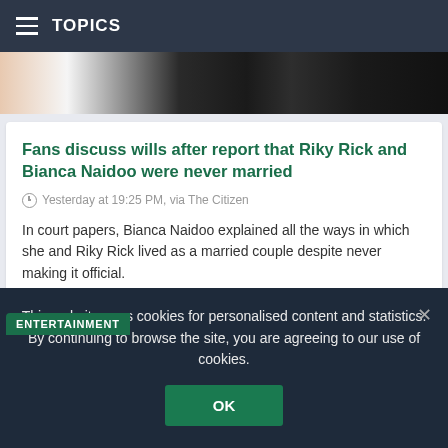TOPICS
[Figure (photo): Partial photo of people, cropped at top showing clothing]
Fans discuss wills after report that Riky Rick and Bianca Naidoo were never married
Yesterday at 19:25 PM, via The Citizen
In court papers, Bianca Naidoo explained all the ways in which she and Riky Rick lived as a married couple despite never making it official.
[Figure (photo): Entertainment section photo showing a person with curly hair and glasses]
This website uses cookies for personalised content and statistics. By continuing to browse the site, you are agreeing to our use of cookies.